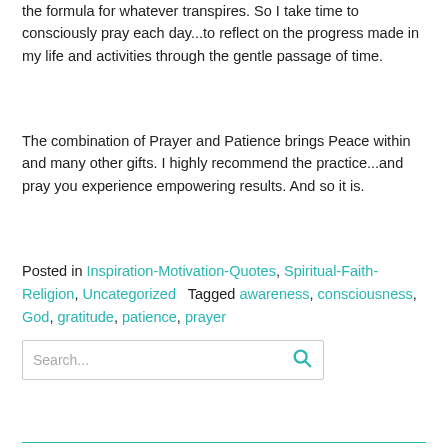the formula for whatever transpires. So I take time to consciously pray each day...to reflect on the progress made in my life and activities through the gentle passage of time.
The combination of Prayer and Patience brings Peace within and many other gifts. I highly recommend the practice...and pray you experience empowering results. And so it is.
Posted in Inspiration-Motivation-Quotes, Spiritual-Faith-Religion, Uncategorized   Tagged awareness, consciousness, God, gratitude, patience, prayer
[Figure (other): Search bar with magnifying glass icon]